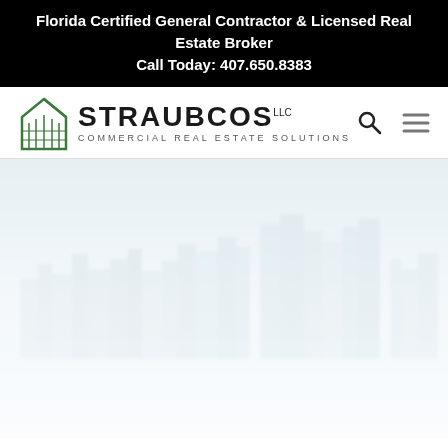Florida Certified General Contractor & Licensed Real Estate Broker
Call Today: 407.650.8383
[Figure (logo): Straubcos LLC Commercial Real Estate Solutions logo with green building icon]
[Figure (photo): Faded cityscape/skyline photo of Orlando Florida with reflections on water, used as hero banner background]